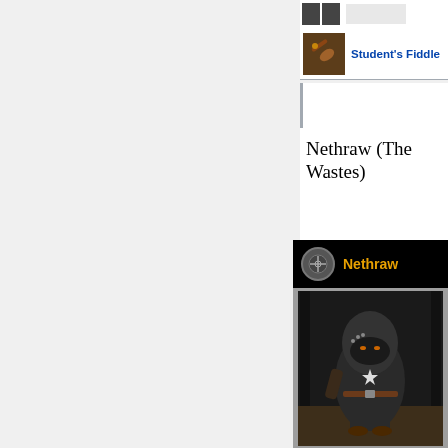[Figure (screenshot): Small icon strip at top of wiki content area]
Student's Fiddle
Nethraw (The Wastes)
[Figure (screenshot): Character info card showing Nethraw NPC with golden name text on black header bar, with circular icon, on a grey background]
[Figure (photo): In-game screenshot of Nethraw character: a hooded figure wearing a dark cloak with a white star emblem, face covering, belt, and boots, standing in a dim stone interior]